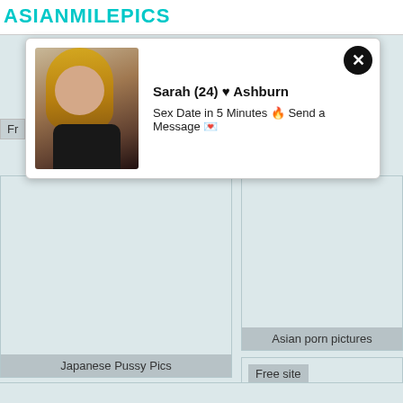ASIANMILEPICS
[Figure (screenshot): Popup advertisement card showing a woman photo with text 'Sarah (24) ♥ Ashburn / Sex Date in 5 Minutes 🔥 Send a Message 💌' and a close button]
Fr...
[Figure (photo): Left column image block - Japanese Pussy Pics]
Japanese Pussy Pics
[Figure (photo): Right top image block - Asian porn pictures]
Asian porn pictures
Free site
[Figure (photo): Right bottom image block with Free site label]